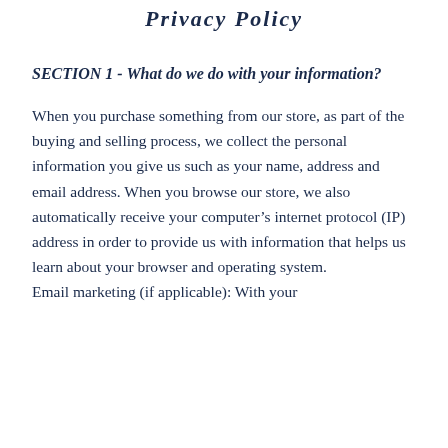Privacy Policy
SECTION 1 - What do we do with your information?
When you purchase something from our store, as part of the buying and selling process, we collect the personal information you give us such as your name, address and email address. When you browse our store, we also automatically receive your computer’s internet protocol (IP) address in order to provide us with information that helps us learn about your browser and operating system.
Email marketing (if applicable): With your